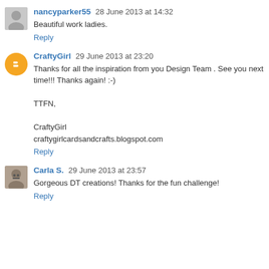nancyparker55 28 June 2013 at 14:32
Beautiful work ladies.
Reply
CraftyGirl 29 June 2013 at 23:20
Thanks for all the inspiration from you Design Team . See you next time!!! Thanks again! :-)

TTFN,

CraftyGirl
craftygirlcardsandcrafts.blogspot.com
Reply
Carla S. 29 June 2013 at 23:57
Gorgeous DT creations! Thanks for the fun challenge!
Reply